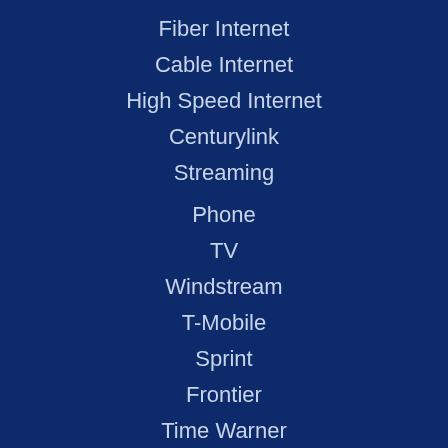Fiber Internet
Cable Internet
High Speed Internet
Centurylink
Streaming
Phone
TV
Windstream
T-Mobile
Sprint
Frontier
Time Warner
Viasat Easycare Faqs
Hughesnet Outage